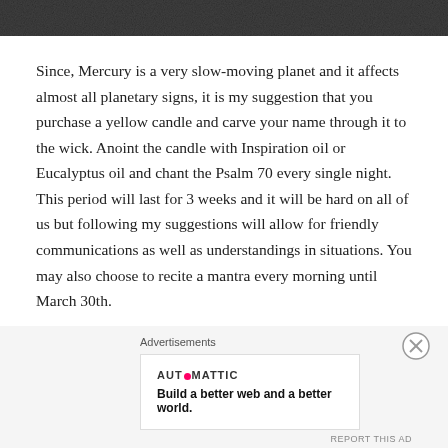[Figure (photo): Dark/black and white textured image at top of page]
Since, Mercury is a very slow-moving planet and it affects almost all planetary signs, it is my suggestion that you purchase a yellow candle and carve your name through it to the wick. Anoint the candle with Inspiration oil or Eucalyptus oil and chant the Psalm 70 every single night. This period will last for 3 weeks and it will be hard on all of us but following my suggestions will allow for friendly communications as well as understandings in situations. You may also choose to recite a mantra every morning until March 30th.
Advertisements
AUTOMATTIC
Build a better web and a better world.
REPORT THIS AD